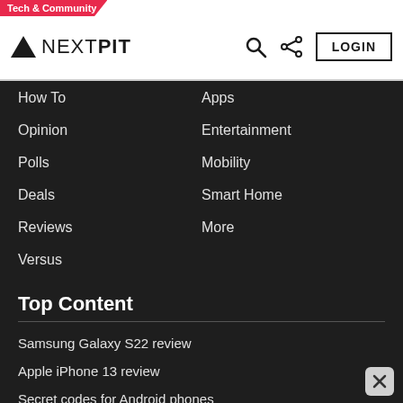Tech & Community
NEXTPIT
How To
Apps
Opinion
Entertainment
Polls
Mobility
Deals
Smart Home
Reviews
More
Versus
Top Content
Samsung Galaxy S22 review
Apple iPhone 13 review
Secret codes for Android phones
Best offline games for Android
Best iOS Apps
Best Android Apps
iPhone comparison 2022